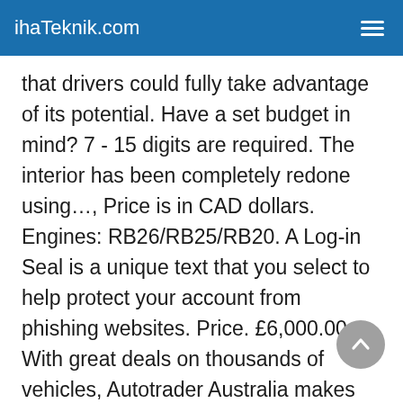ihaTeknik.com
that drivers could fully take advantage of its potential. Have a set budget in mind? 7 - 15 digits are required. The interior has been completely redone using…, Price is in CAD dollars. Engines: RB26/RB25/RB20. A Log-in Seal is a unique text that you select to help protect your account from phishing websites. Price. £6,000.00. With great deals on thousands of vehicles, Autotrader Australia makes buying new and second-hand cars for sale … For sale in our Dallas Showroom is a drifter, a 1990 Nissan Skyline. For sale; used interior gear shifter surround trim. Lightly modified R34 GT with aftermarket wheels, aftermarket exhaust, Bride drivers seat and an Apexi boost gauge. 50 Nissan Skylines for